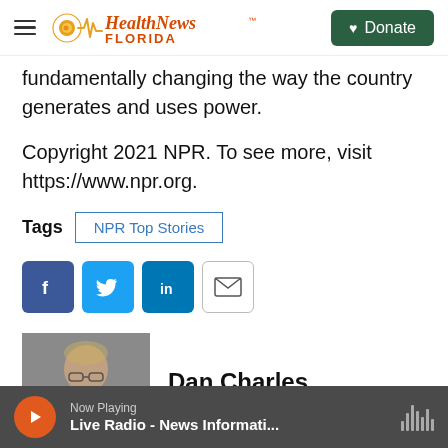Health News Florida — Donate
fundamentally changing the way the country generates and uses power.
Copyright 2021 NPR. To see more, visit https://www.npr.org.
Tags   NPR Top Stories
[Figure (infographic): Social share buttons: Facebook (blue), Twitter (blue), LinkedIn (blue), Email (white outline)]
[Figure (photo): Headshot photo of Dan Charles]
Dan Charles
Now Playing — Live Radio - News Informati...